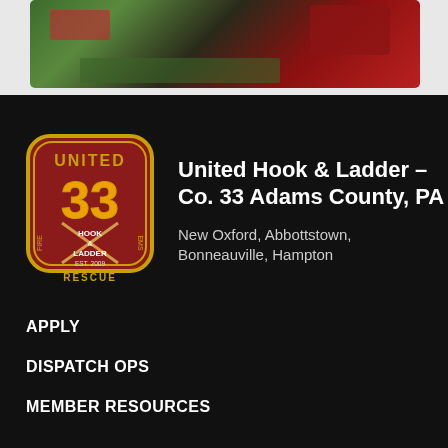[Figure (photo): Partial view of fire/rescue scene with vegetation and red equipment, cropped at top of page]
[Figure (logo): United Hook & Ladder Co. 33 badge/shield logo — dark red background, yellow '33', crossed ladders, text: UNITED, HOOK & LADDER, FIRE, EMS, RESCUE, EST. 2009]
United Hook & Ladder – Co. 33 Adams County, PA
New Oxford, Abbottstown, Bonneauville, Hampton
APPLY
DISPATCH OPS
MEMBER RESOURCES